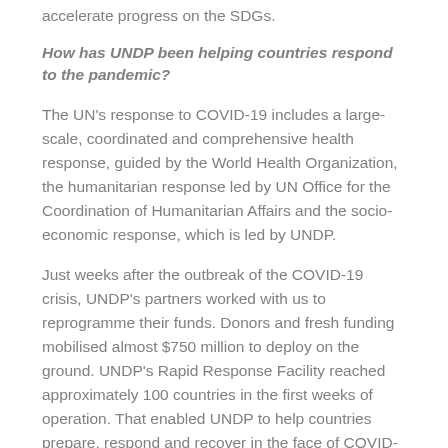accelerate progress on the SDGs.
How has UNDP been helping countries respond to the pandemic?
The UN’s response to COVID-19 includes a large-scale, coordinated and comprehensive health response, guided by the World Health Organization, the humanitarian response led by UN Office for the Coordination of Humanitarian Affairs and the socio-economic response, which is led by UNDP.
Just weeks after the outbreak of the COVID-19 crisis, UNDP’s partners worked with us to reprogramme their funds. Donors and fresh funding mobilised almost $750 million to deploy on the ground. UNDP’s Rapid Response Facility reached approximately 100 countries in the first weeks of operation. That enabled UNDP to help countries prepare, respond and recover in the face of COVID-19 – everything from procuring critical medical supplies to applying e-health and e-government platforms to ensure the full business continuity of governments across the globe.